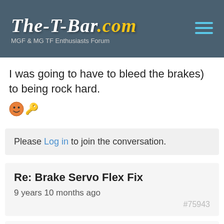The-T-Bar.com — MGF & MG TF Enthusiasts Forum
I was going to have to bleed the brakes) to being rock hard.
[smiley emoji][key emoji]
Please Log in to join the conversation.
Re: Brake Servo Flex Fix  9 years 10 months ago  #75943
David Aiketgate
David
[Administrator]